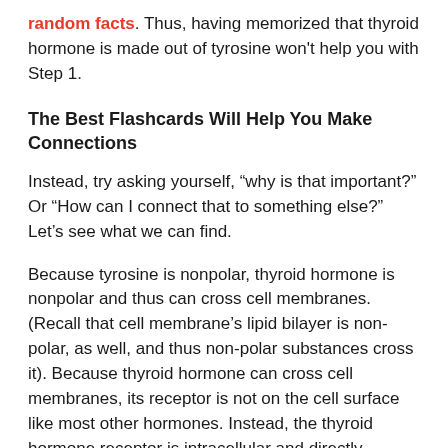random facts. Thus, having memorized that thyroid hormone is made out of tyrosine won't help you with Step 1.
The Best Flashcards Will Help You Make Connections
Instead, try asking yourself, “why is that important?” Or “How can I connect that to something else?” Let’s see what we can find.
Because tyrosine is nonpolar, thyroid hormone is nonpolar and thus can cross cell membranes. (Recall that cell membrane’s lipid bilayer is non-polar, as well, and thus non-polar substances cross it). Because thyroid hormone can cross cell membranes, its receptor is not on the cell surface like most other hormones. Instead, the thyroid hormone receptor is intracellular and directly